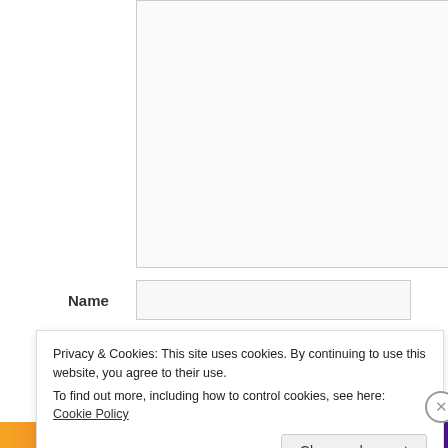[Figure (screenshot): Empty textarea form field with resize handle at bottom right]
Name
[Figure (screenshot): Name text input field]
Email
[Figure (screenshot): Email text input field]
Website
[Figure (screenshot): Website text input field]
Privacy & Cookies: This site uses cookies. By continuing to use this website, you agree to their use.
To find out more, including how to control cookies, see here: Cookie Policy
Close and accept